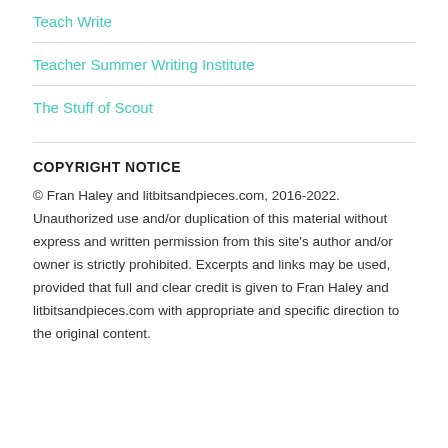Teach Write
Teacher Summer Writing Institute
The Stuff of Scout
COPYRIGHT NOTICE
© Fran Haley and litbitsandpieces.com, 2016-2022. Unauthorized use and/or duplication of this material without express and written permission from this site's author and/or owner is strictly prohibited. Excerpts and links may be used, provided that full and clear credit is given to Fran Haley and litbitsandpieces.com with appropriate and specific direction to the original content.